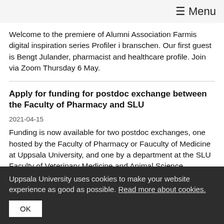≡ Menu
Welcome to the premiere of Alumni Association Farmis digital inspiration series Profiler i branschen. Our first guest is Bengt Julander, pharmacist and healthcare profile. Join via Zoom Thursday 6 May.
Apply for funding for postdoc exchange between the Faculty of Pharmacy and SLU
2021-04-15
Funding is now available for two postdoc exchanges, one hosted by the Faculty of Pharmacy or Fauculty of Medicine at Uppsala University, and one by a department at the SLU Faculty of Veterinary Medicine and Animal Science
Uppsala University uses cookies to make your website experience as good as possible. Read more about cookies.